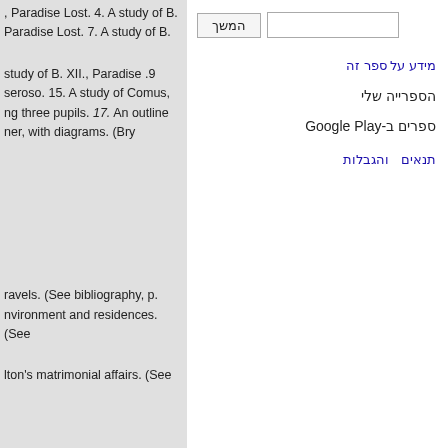, Paradise Lost. 4. A study of B. Paradise Lost. 7. A study of B.
study of B. XII., Paradise .9 seroso. 15. A study of Comus, ng three pupils. 17. An outline ner, with diagrams. (Bry
ravels. (See bibliography, p. nvironment and residences. (See
lton's matrimonial affairs. (See
המשך
מידע על ספר זה
הספרייה שלי
ספרים ב-Google Play
תנאים   והגבלות